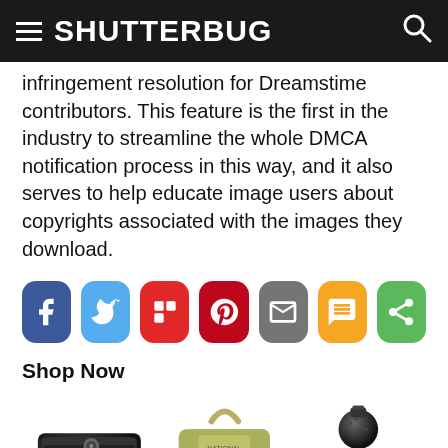SHUTTERBUG
infringement resolution for Dreamstime contributors. This feature is the first in the industry to streamline the whole DMCA notification process in this way, and it also serves to help educate image users about copyrights associated with the images they download.
[Figure (infographic): Row of 7 social share buttons: Facebook (blue), Twitter (light blue), Flipboard (red), Pinterest (dark red), Email (gray), SMS (yellow/orange), Share (green)]
Shop Now
[Figure (photo): Three product photos: a black camera quick-release plate, a tan/olive canvas camera bag with strap, and a black ball head tripod mount]